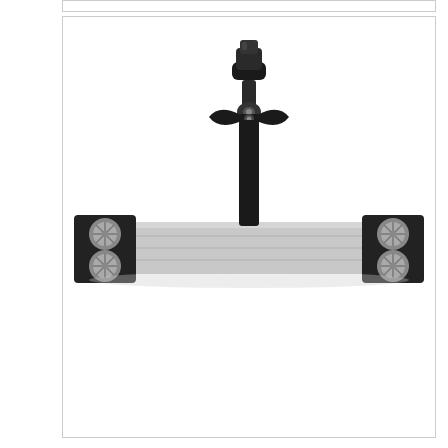[Figure (photo): A flat mop frame / mop holder made of aluminum with a black plastic swivel joint connector at the top center. The frame is wide and horizontal, silver/metallic in color with black end caps on both sides. Each end cap has two white circular knobs or buttons. The central connector piece is black and butterfly-shaped, attaching to a cylindrical black handle socket above it.]